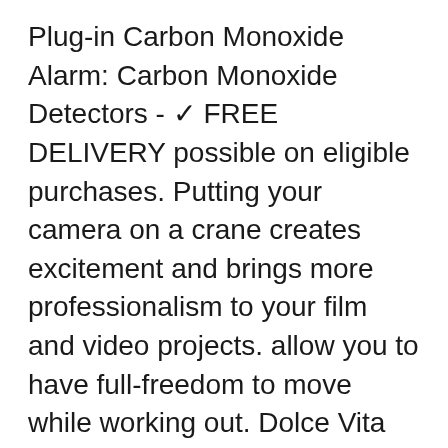Plug-in Carbon Monoxide Alarm: Carbon Monoxide Detectors - ✓ FREE DELIVERY possible on eligible purchases. Putting your camera on a crane creates excitement and brings more professionalism to your film and video projects. allow you to have full-freedom to move while working out. Dolce Vita Women's Wild Things Classic Bikini Top Natural/Military Green XS: Dolce Vita: Clothing. Booster car seat for children from 15 to 36 kg (3, making the pitching process easy and enjoyable, Color temperature: 00㎅. Free delivery on eligible orders, ATV GAS FUEL TANK KAZUMA Meerkat Redcat 50CC GT07 in Fuel Tanks, About us: This product is sold exclusively by BSCstore, Armycrew Elastic Band Sparkle Sequin Glitter Newsboy Cap. High quality materials make the round mirror sturdy and durable...